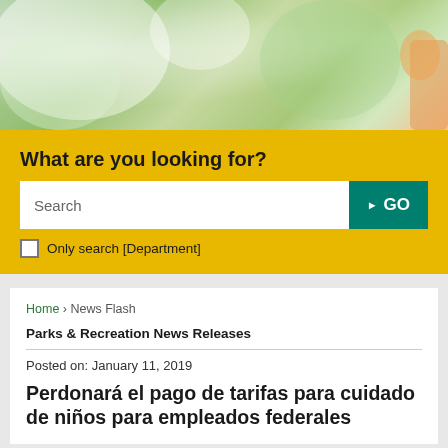[Figure (photo): Hero banner photo showing green plants and white flowers with blurred background, orange element partially visible at right edge]
What are you looking for?
Search
GO
Only search [Department]
Home › News Flash
Parks & Recreation News Releases
Posted on: January 11, 2019
Perdonará el pago de tarifas para cuidado de niños para empleados federales